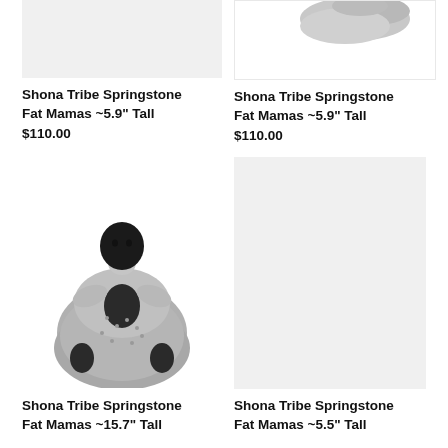[Figure (photo): Shona Tribe Springstone Fat Mamas sculpture, top portion cropped, light gray background]
[Figure (photo): Shona Tribe Springstone Fat Mamas sculpture, top portion showing textured stone figure on white background]
Shona Tribe Springstone Fat Mamas ~5.9" Tall
$110.00
Shona Tribe Springstone Fat Mamas ~5.9" Tall
$110.00
[Figure (photo): Shona Tribe Springstone Fat Mamas sculpture, seated figure with textured gray stone body and dark head holding child]
[Figure (photo): Empty gray placeholder box for Shona Tribe Springstone Fat Mamas ~5.5 Tall]
Shona Tribe Springstone Fat Mamas ~15.7" Tall
Shona Tribe Springstone Fat Mamas ~5.5" Tall